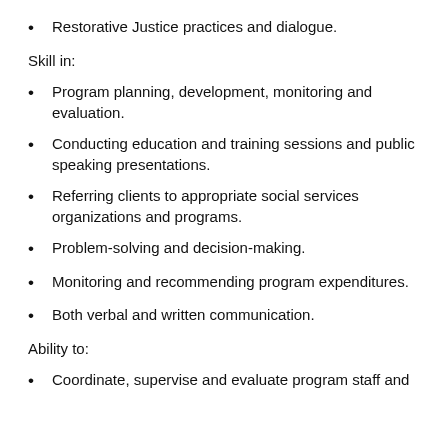Restorative Justice practices and dialogue.
Skill in:
Program planning, development, monitoring and evaluation.
Conducting education and training sessions and public speaking presentations.
Referring clients to appropriate social services organizations and programs.
Problem-solving and decision-making.
Monitoring and recommending program expenditures.
Both verbal and written communication.
Ability to:
Coordinate, supervise and evaluate program staff and